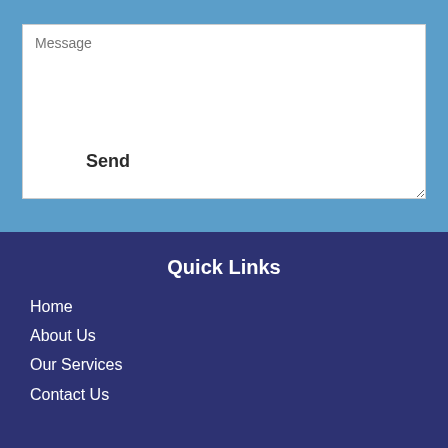Message
Send
Quick Links
Home
About Us
Our Services
Contact Us